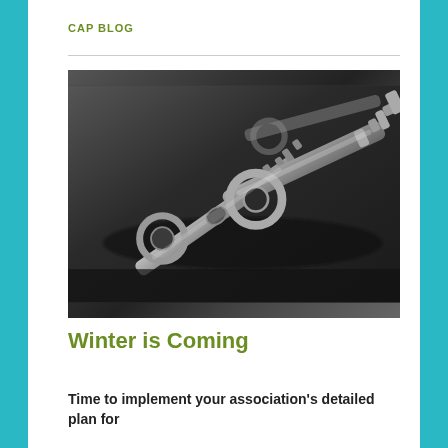CAP BLOG
[Figure (photo): Close-up photograph of multiple metal skeleton keys resting on a dark surface, in black and white / desaturated tones]
Winter is Coming
Time to implement your association's detailed plan for